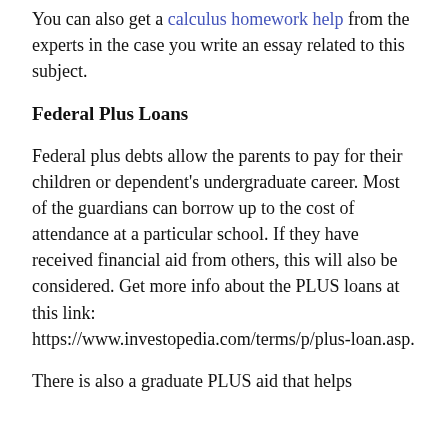You can also get a calculus homework help from the experts in the case you write an essay related to this subject.
Federal Plus Loans
Federal plus debts allow the parents to pay for their children or dependent's undergraduate career. Most of the guardians can borrow up to the cost of attendance at a particular school. If they have received financial aid from others, this will also be considered. Get more info about the PLUS loans at this link: https://www.investopedia.com/terms/p/plus-loan.asp.
There is also a graduate PLUS aid that helps